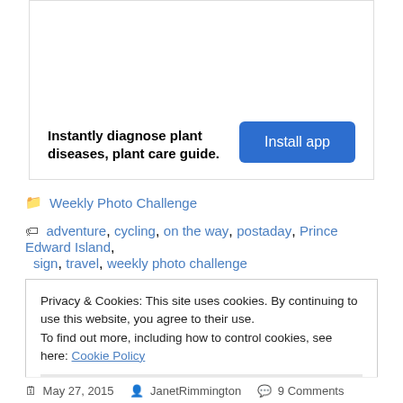[Figure (other): Advertisement box for a plant disease diagnosis app with 'Instantly diagnose plant diseases, plant care guide.' text and a blue 'Install app' button]
Weekly Photo Challenge
adventure, cycling, on the way, postaday, Prince Edward Island, sign, travel, weekly photo challenge
Privacy & Cookies: This site uses cookies. By continuing to use this website, you agree to their use.
To find out more, including how to control cookies, see here: Cookie Policy
Close and accept
May 27, 2015   JanetRimmington   9 Comments